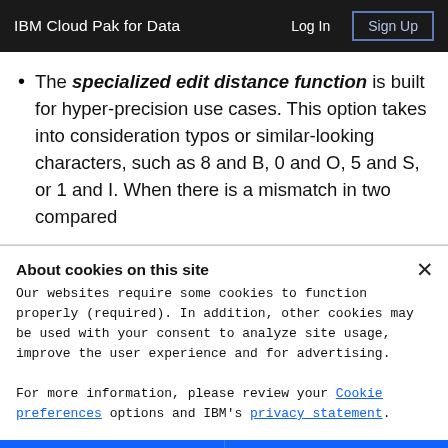IBM Cloud Pak for Data   Log In   Sign Up
The specialized edit distance function is built for hyper-precision use cases. This option takes into consideration typos or similar-looking characters, such as 8 and B, 0 and O, 5 and S, or 1 and I. When there is a mismatch in two compared
About cookies on this site
Our websites require some cookies to function properly (required). In addition, other cookies may be used with your consent to analyze site usage, improve the user experience and for advertising.

For more information, please review your Cookie preferences options and IBM's privacy statement.
Required only
Accept all